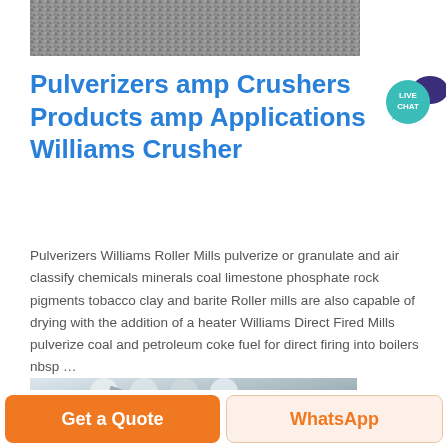[Figure (photo): Grainy gravel/aggregate texture, black and white photo at top of page]
Pulverizers amp Crushers Products amp Applications Williams Crusher
[Figure (illustration): Live Chat badge – teal circle with 'LIVE CHAT' text and dark speech bubble icon]
Pulverizers Williams Roller Mills pulverize or granulate and air classify chemicals minerals coal limestone phosphate rock pigments tobacco clay and barite Roller mills are also capable of drying with the addition of a heater Williams Direct Fired Mills pulverize coal and petroleum coke fuel for direct firing into boilers nbsp …
[Figure (photo): Industrial equipment photo showing large white cylindrical silos or tanks in a facility]
Get a Quote
WhatsApp